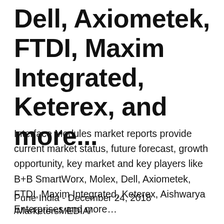Dell, Axiometek, FTDI, Maxim Integrated, Keterex, and more...
Interface Modules market reports provide current market status, future forecast, growth opportunity, key market and key players like B+B SmartWorx, Molex, Dell, Axiometek, FTDI, Maxim Integrated, Keterex, Aishwarya Enterprises and more...
Pune India - December 24, 2018 /MarketersMEDIA/